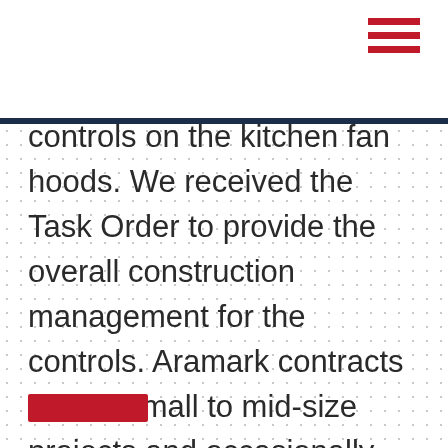[Figure (other): Hamburger menu icon made of three red horizontal bars]
controls on the kitchen fan hoods. We received the Task Order to provide the overall construction management for the controls. Aramark contracts are for small to mid-size projects and occasionally we receive a Task Order to provide construction oversight of one of their vendors. Our work consists of renovations to fast-food court installations and main dining and server areas.